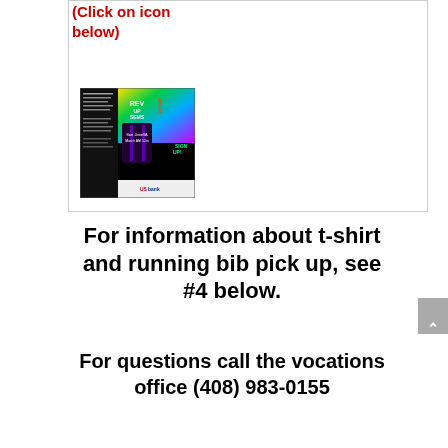(Click on icon below)
[Figure (illustration): Colorful event poster for a running seminar titled REV UP SEMS with sponsor logos including US Bank]
For information about t-shirt and running bib pick up, see #4 below.
For questions call the vocations office (408) 983-0155